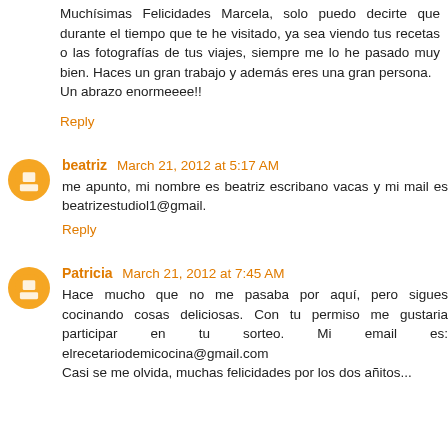Muchísimas Felicidades Marcela, solo puedo decirte que durante el tiempo que te he visitado, ya sea viendo tus recetas o las fotografías de tus viajes, siempre me lo he pasado muy bien. Haces un gran trabajo y además eres una gran persona.
Un abrazo enormeeee!!
Reply
beatriz March 21, 2012 at 5:17 AM
me apunto, mi nombre es beatriz escribano vacas y mi mail es beatrizestudiol1@gmail.
Reply
Patricia March 21, 2012 at 7:45 AM
Hace mucho que no me pasaba por aquí, pero sigues cocinando cosas deliciosas. Con tu permiso me gustaria participar en tu sorteo. Mi email es: elrecetariodemicocina@gmail.com
Casi se me olvida, muchas felicidades por los dos añitos...